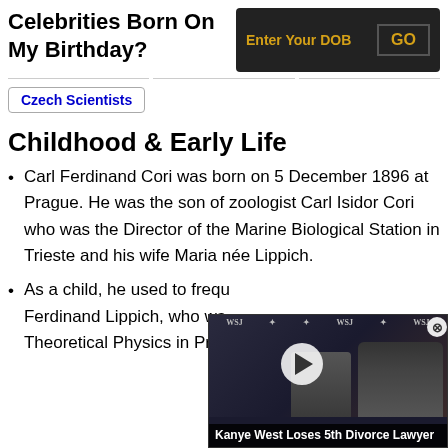Celebrities Born On My Birthday?
[Figure (screenshot): DOB search widget with dark background, 'Enter Your DOB' placeholder text and 'GO' button in gold]
Czech Scientists
Childhood & Early Life
Carl Ferdinand Cori was born on 5 December 1896 at Prague. He was the son of zoologist Carl Isidor Cori who was the Director of the Marine Biological Station in Trieste and his wife Maria née Lippich.
As a child, he used to frequently visit his grandfather Ferdinand Lippich, who was a Professor of Theoretical Physics in Prag...
[Figure (screenshot): Ad overlay showing two people at WSJ event with caption 'Kanye West Loses 5th Divorce Lawyer' and play button]